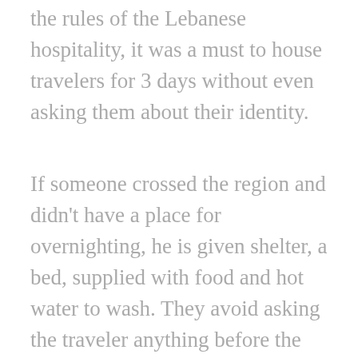the rules of the Lebanese hospitality, it was a must to house travelers for 3 days without even asking them about their identity.
If someone crossed the region and didn't have a place for overnighting, he is given shelter, a bed, supplied with food and hot water to wash. They avoid asking the traveler anything before the end of the third day, giving him enough time to rest and to recover. The 4th day the traveler is